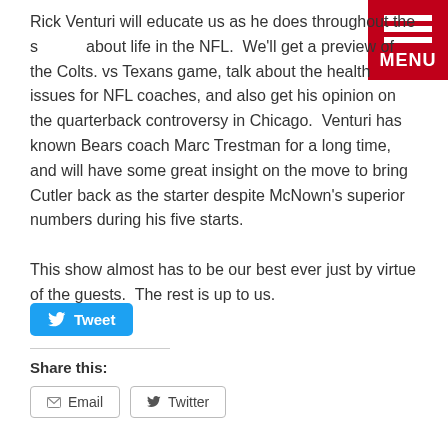Rick Venturi will educate us as he does throughout the season about life in the NFL.  We'll get a preview of the Colts. vs Texans game, talk about the health issues for NFL coaches, and also get his opinion on the quarterback controversy in Chicago.  Venturi has known Bears coach Marc Trestman for a long time, and will have some great insight on the move to bring Cutler back as the starter despite McNown's superior numbers during his five starts.

This show almost has to be our best ever just by virtue of the guests.  The rest is up to us.
[Figure (other): Tweet button (blue rounded rectangle with Twitter bird icon and 'Tweet' label)]
Share this:
[Figure (other): Email and Twitter share buttons (outlined rectangles with icons)]